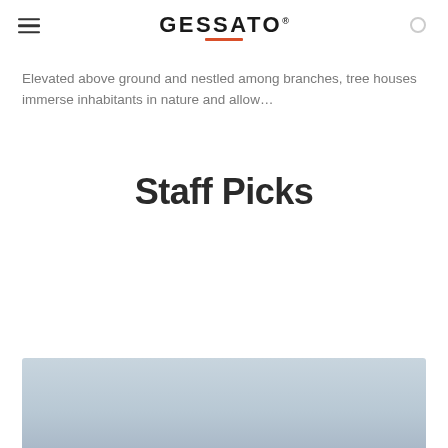GESSATO
Elevated above ground and nestled among branches, tree houses immerse inhabitants in nature and allow...
Staff Picks
[Figure (photo): A light blue-grey image placeholder at the bottom of the page, partially visible, showing a muted sky-like gradient.]